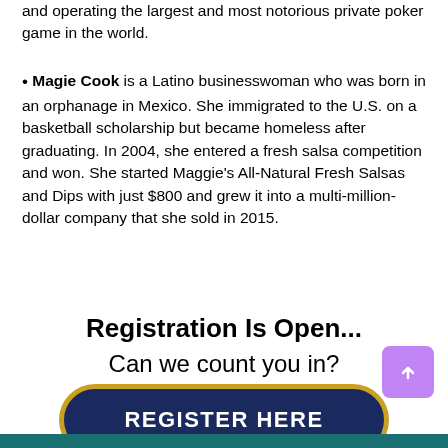and operating the largest and most notorious private poker game in the world.
Magie Cook is a Latino businesswoman who was born in an orphanage in Mexico. She immigrated to the U.S. on a basketball scholarship but became homeless after graduating. In 2004, she entered a fresh salsa competition and won. She started Maggie’s All-Natural Fresh Salsas and Dips with just $800 and grew it into a multi-million-dollar company that she sold in 2015.
Registration Is Open...
Can we count you in?
[Figure (other): REGISTER HERE button — dark navy rounded pill with gold border]
[Figure (other): Scroll-to-top button, purple square with upward chevron]